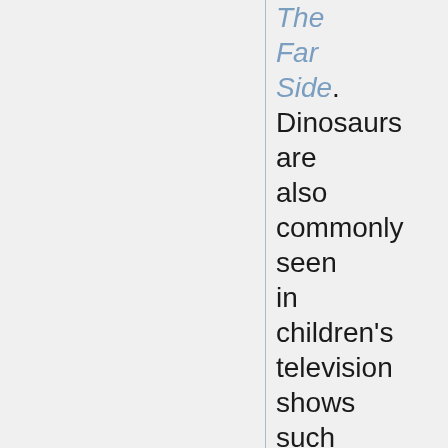The Far Side. Dinosaurs are also commonly seen in children's television shows such as the 1970s